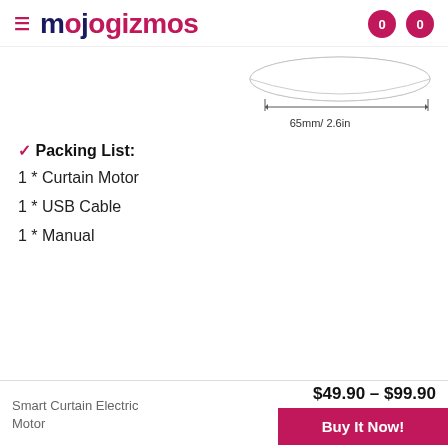mojogizmos
[Figure (engineering-diagram): Partial diagram showing a curved white object with a horizontal measurement arrow indicating 65mm/ 2.6in]
✓ Packing List:
1 * Curtain Motor
1 * USB Cable
1 * Manual
Smart Curtain Electric Motor   $49.90 – $99.90   Buy It Now!